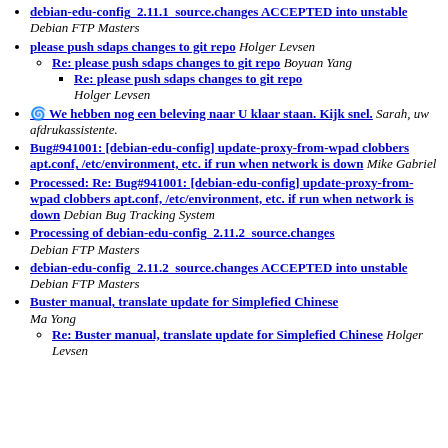debian-edu-config 2.11.1 source.changes ACCEPTED into unstable Debian FTP Masters
please push sdaps changes to git repo Holger Levsen
Re: please push sdaps changes to git repo Boyuan Yang
Re: please push sdaps changes to git repo Holger Levsen
🌀 We hebben nog een beleving naar U klaar staan. Kijk snel. Sarah, uw afdrukassistente.
Bug#941001: [debian-edu-config] update-proxy-from-wpad clobbers apt.conf, /etc/environment, etc. if run when network is down Mike Gabriel
Processed: Re: Bug#941001: [debian-edu-config] update-proxy-from-wpad clobbers apt.conf, /etc/environment, etc. if run when network is down Debian Bug Tracking System
Processing of debian-edu-config 2.11.2 source.changes Debian FTP Masters
debian-edu-config 2.11.2 source.changes ACCEPTED into unstable Debian FTP Masters
Buster manual, translate update for Simplefied Chinese Ma Yong
Re: Buster manual, translate update for Simplefied Chinese Holger Levsen